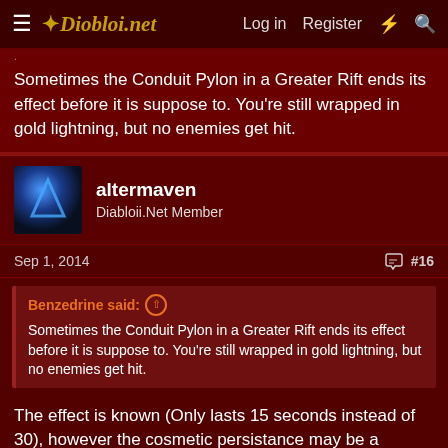≡ Diobloi.net   Log in   Register   ⚡   🔍
Sometimes the Conduit Pylon in a Greater Rift ends its effect before it is suppose to. You're still wrapped in gold lightning, but no enemies get hit.
altermaven
Diabloii.Net Member
Sep 1, 2014   #16
Benzedrine said: ↑
Sometimes the Conduit Pylon in a Greater Rift ends its effect before it is suppose to. You're still wrapped in gold lightning, but no enemies get hit.
The effect is known (Only lasts 15 seconds instead of 30), however the cosmetic persistance may be a display bug.